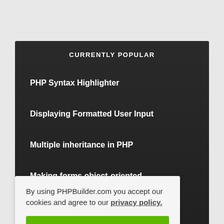CURRENTLY POPULAR
PHP Syntax Highlighter
Displaying Formatted User Input
Multiple inheritance in PHP
Making forms object-oriented
By using PHPBuilder.com you accept our cookies and agree to our privacy policy.
OK!